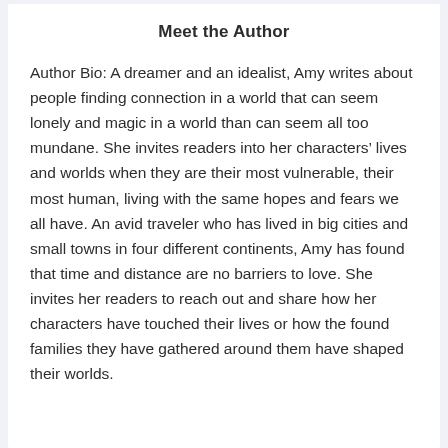Meet the Author
Author Bio: A dreamer and an idealist, Amy writes about people finding connection in a world that can seem lonely and magic in a world than can seem all too mundane. She invites readers into her characters’ lives and worlds when they are their most vulnerable, their most human, living with the same hopes and fears we all have. An avid traveler who has lived in big cities and small towns in four different continents, Amy has found that time and distance are no barriers to love. She invites her readers to reach out and share how her characters have touched their lives or how the found families they have gathered around them have shaped their worlds.